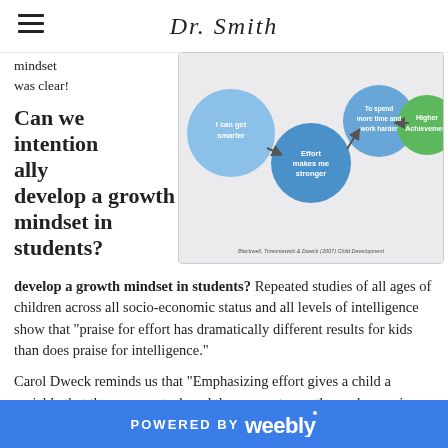Dr. Smith
mindset was clear!
[Figure (flowchart): Growth mindset flowchart showing bubbles: 'I can get smarter' -> 'Effort makes me stronger' -> 'To spend more time and work harder' -> 'Higher Achievement'. Citation: Blackwell, Trzesniewski & Dweck (2007) Child Development.]
Can we intentionally develop a growth mindset in students?  Repeated studies of all ages of children across all socio-economic status and all levels of intelligence show that "praise for effort has dramatically different results for kids than does praise for intelligence."
Carol Dweck reminds us that "Emphasizing effort gives a child a variable that they can control, and they come to see themselves as in control of their success.  Emphasizing natural intelligence takes it out of the child's control, and it provides no good recipe for responding to a failure."
POWERED BY weebly